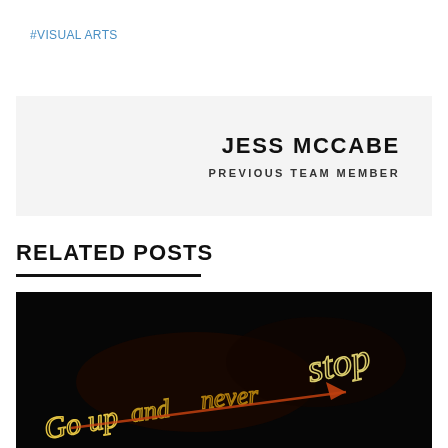#VISUAL ARTS
| JESS MCCABE |
| PREVIOUS TEAM MEMBER |
RELATED POSTS
[Figure (photo): Dark photo with light painting text reading 'Go up and never stop' with a glowing arrow, yellow/orange neon-style lettering on black background]